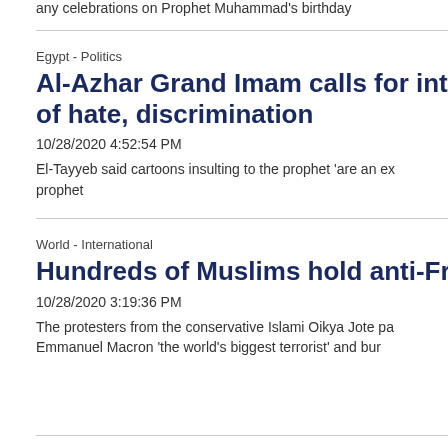any celebrations on Prophet Muhammad's birthday
Egypt - Politics
Al-Azhar Grand Imam calls for int'l legislat... of hate, discrimination
10/28/2020 4:52:54 PM
El-Tayyeb said cartoons insulting to the prophet 'are an ex... prophet
World - International
Hundreds of Muslims hold anti-France pro...
10/28/2020 3:19:36 PM
The protesters from the conservative Islami Oikya Jote pa... Emmanuel Macron 'the world's biggest terrorist' and bur...